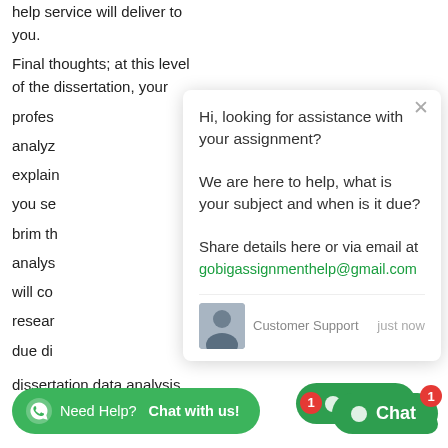help service will deliver to you.
Final thoughts; at this level of the dissertation, your profes... analyz... explain... you se... brim th... analys... will co... resear... due di... dissertation data analysis.
[Figure (screenshot): Chat popup overlay with messages: 'Hi, looking for assistance with your assignment?', 'We are here to help, what is your subject and when is it due?', 'Share details here or via email at gobigassignmenthelp@gmail.com'. Footer shows customer support avatar, 'Customer Support' label, and 'just now' timestamp.]
dissertation data analysis.
[Figure (other): WhatsApp green button: 'Need Help? Chat with us!']
[Figure (other): Green Chat button with badge showing '1']